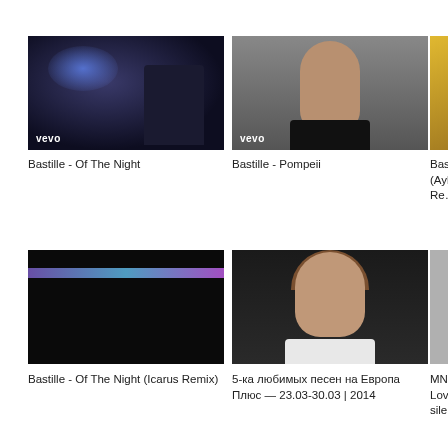[Figure (screenshot): Video thumbnail for Bastille - Of The Night, dark scene with blue stage lights, vevo watermark]
Bastille - Of The Night
[Figure (screenshot): Video thumbnail for Bastille - Pompeii, close-up of young man's face, gray background, vevo watermark]
Bastille - Pompeii
[Figure (screenshot): Partially visible thumbnail, gold/yellow background, partially cropped]
Bastille - (Aylen Re…
[Figure (screenshot): Video thumbnail for Bastille - Of The Night (Icarus Remix), dark background with purple/blue light strip]
Bastille - Of The Night (Icarus Remix)
[Figure (screenshot): Video thumbnail for 5-ка любимых песен на Европа Плюс, young woman in a car]
5-ка любимых песен на Европа Плюс — 23.03-30.03 | 2014
[Figure (screenshot): Partially visible thumbnail for MNM Lov… silence, gray background]
MNM Lov… silence